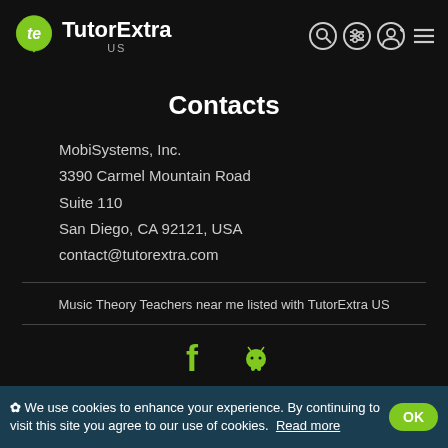TutorExtra US
Contacts
MobiSystems, Inc.
3390 Carmel Mountain Road
Suite 110
San Diego, CA 92121, USA
contact@tutorextra.com
Music Theory Teachers near me listed with TutorExtra US
[Figure (logo): Facebook icon and Android robot icon in green]
Copyright © TutorExtra, 2022
✿ We use cookies to enhance your experience. By continuing to visit this site you agree to our use of cookies. Read more OK